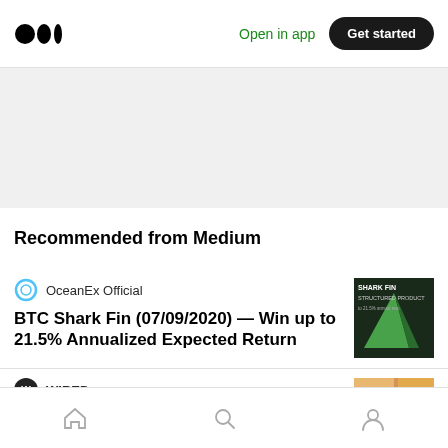Medium logo | Open in app | Get started
[Figure (other): Gray banner/advertisement placeholder area]
Recommended from Medium
[Figure (other): OceanEx Official author icon - blue circle outline]
OceanEx Official
BTC Shark Fin (07/09/2020) — Win up to 21.5% Annualized Expected Return
[Figure (photo): Thumbnail image: Shark Fin Structured Product promotional graphic with green shark fin shape on dark background]
[Figure (logo): WIRED magazine logo icon - black circle with white W]
WIRED
Where Could Bitcoin Succeed as a Currency? In a Failed State
[Figure (photo): Thumbnail photo of a person in colorful clothing]
Navigation bar: Home, Search, Profile